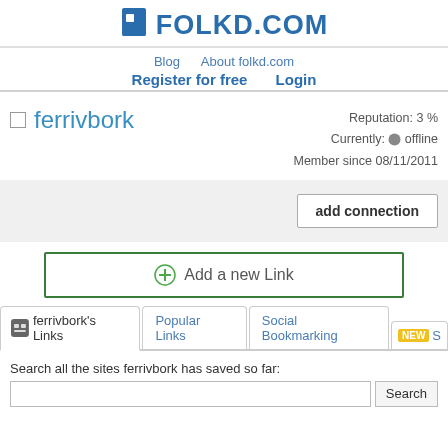[Figure (logo): Folkd.com logo with blue bookmark icon and bold blue FOLKD.COM text]
Blog   About folkd.com
Register for free   Login
ferrivbork
Reputation: 3 %
Currently: offline
Member since 08/11/2011
add connection
Add a new Link
ferrivbork's Links   Popular Links   Social Bookmarking   NEW S
Search all the sites ferrivbork has saved so far:
Search